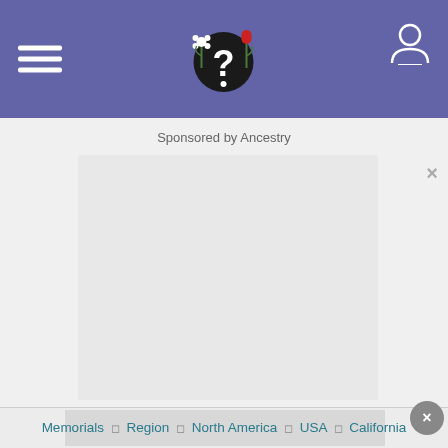Sponsored by Ancestry
[Figure (other): Gray advertisement placeholder box]
×
×
Memorials · Region · North America · USA · California